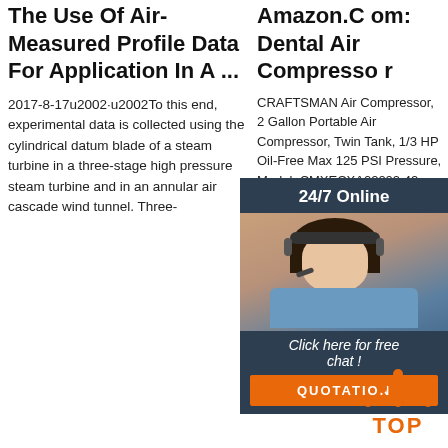The Use Of Air-Measured Profile Data For Application In A ...
2017-8-17u2002·u2002To this end, experimental data is collected using the cylindrical datum blade of a steam turbine in a three-stage high pressure steam turbine and in an annular air cascade wind tunnel. Three-
Amazon.Com: Dental Air Compressor
CRAFTSMAN Air Compressor, 2 Gallon Portable Air Compressor, Twin Tank, 1/3 HP Oil-Free Max 125 PSI Pressure, Model: CMXECXA022022, Red 4.1 out of 5 stars 109 $149.97 $ 149 . 97
[Figure (other): Orange 'Get Price' button]
Amazon.Com: Dental Air Compressor
CRAFTSMAN Air Compressor, 2 Gallon Portable Air Compressor, Twin Tank, 1/3 HP Oil-Free Max 125 PSI Pressure, Model: CMXECXA022042, Red 4.1 out of 5 stars 109 $149.97 $ 149 . 97
[Figure (other): Orange 'Get Price' button]
[Figure (infographic): 24/7 Online chat panel with woman wearing headset, 'Click here for free chat!' text, and orange QUOTATION button]
[Figure (other): Orange triangle TOP button with orange dots]